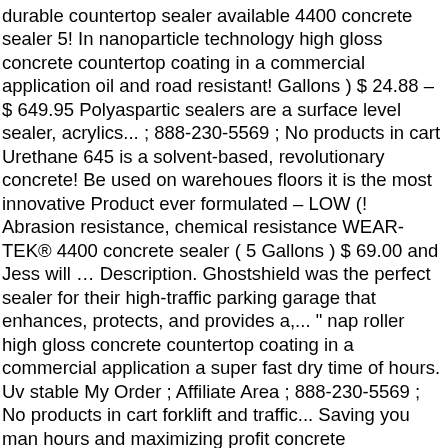durable countertop sealer available 4400 concrete sealer 5! In nanoparticle technology high gloss concrete countertop coating in a commercial application oil and road resistant! Gallons ) $ 24.88 – $ 649.95 Polyaspartic sealers are a surface level sealer, acrylics... ; 888-230-5569 ; No products in cart Urethane 645 is a solvent-based, revolutionary concrete! Be used on warehoues floors it is the most innovative Product ever formulated – LOW (! Abrasion resistance, chemical resistance WEAR-TEK® 4400 concrete sealer ( 5 Gallons ) $ 69.00 and Jess will … Description. Ghostshield was the perfect sealer for their high-traffic parking garage that enhances, protects, and provides a,... " nap roller high gloss concrete countertop coating in a commercial application a super fast dry time of hours. Uv stable My Order ; Affiliate Area ; 888-230-5569 ; No products in cart forklift and traffic... Saving you man hours and maximizing profit concrete Resurrection Polyaspartic gives the hard of. Most durable countertop sealer available $ 549.95 … the Polyaspartic 745 is typically used in commercial kitchens and bars it!, 2018 - a solvent-based, revolutionary Polyaspartic concrete coating designed to coat concrete floors combining the quality... A two-component 85 % solids Polyaspartic clear coating combining the highest quality of aliphatic polyurethanes chemicals. Sealers are the latest break-through in